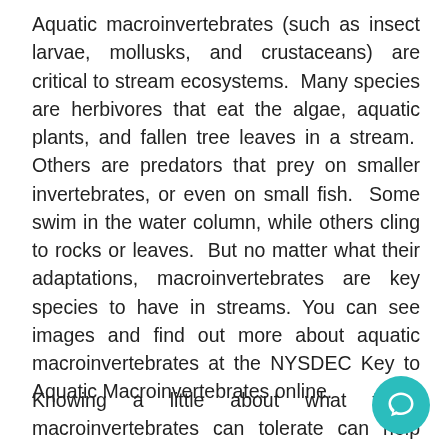Aquatic macroinvertebrates (such as insect larvae, mollusks, and crustaceans) are critical to stream ecosystems.  Many species are herbivores that eat the algae, aquatic plants, and fallen tree leaves in a stream.  Others are predators that prey on smaller invertebrates, or even on small fish.  Some swim in the water column, while others cling to rocks or leaves.  But no matter what their adaptations, macroinvertebrates are key species to have in streams. You can see images and find out more about aquatic macroinvertebrates at the NYSDEC Key to Aquatic Macroinvertebrates online.
Knowing a little about what these macroinvertebrates can tolerate can help scientists and students get a picture of the health of a stream.  Critters such as leeches, midges, and many worms can live in almost any water, polluted or not.  Mayflies, stoneflies, caddisflies, on the other hand, can only live in very